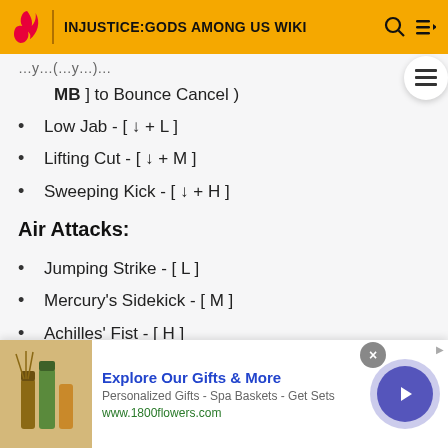INJUSTICE:GODS AMONG US WIKI
MB ] to Bounce Cancel )
Low Jab - [ ↓ + L ]
Lifting Cut - [ ↓ + M ]
Sweeping Kick - [ ↓ + H ]
Air Attacks:
Jumping Strike - [ L ]
Mercury's Sidekick - [ M ]
Achilles' Fist - [ H ]
Throws:
Forward / Reverse Throw - [ ← / → L + H ]
Explore Our Gifts & More
Personalized Gifts - Spa Baskets - Get Sets
www.1800flowers.com